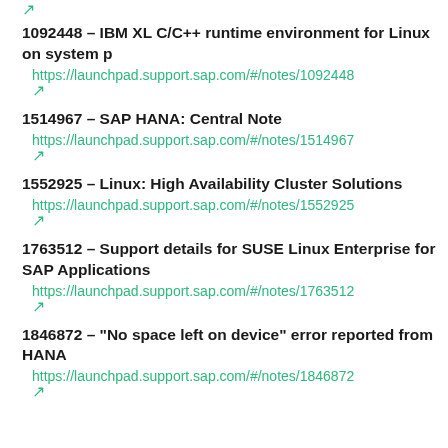1092448 - IBM XL C/C++ runtime environment for Linux on system p
https://launchpad.support.sap.com/#/notes/1092448
1514967 - SAP HANA: Central Note
https://launchpad.support.sap.com/#/notes/1514967
1552925 - Linux: High Availability Cluster Solutions
https://launchpad.support.sap.com/#/notes/1552925
1763512 - Support details for SUSE Linux Enterprise for SAP Applications
https://launchpad.support.sap.com/#/notes/1763512
1846872 - "No space left on device" error reported from HANA
https://launchpad.support.sap.com/#/notes/1846872